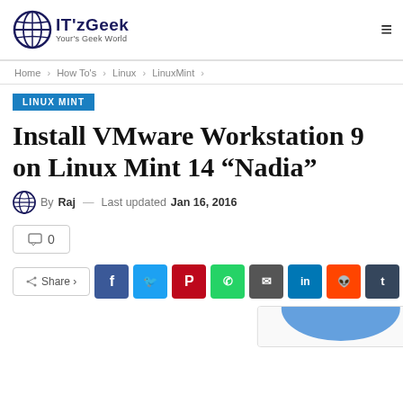IT'zGeek — Your's Geek World
Home > How To's > Linux > LinuxMint >
LINUX MINT
Install VMware Workstation 9 on Linux Mint 14 “Nadia”
By Raj — Last updated Jan 16, 2016
0
Share
[Figure (screenshot): Partial screenshot of an image preview at the bottom of the article page, showing a blue curved shape]